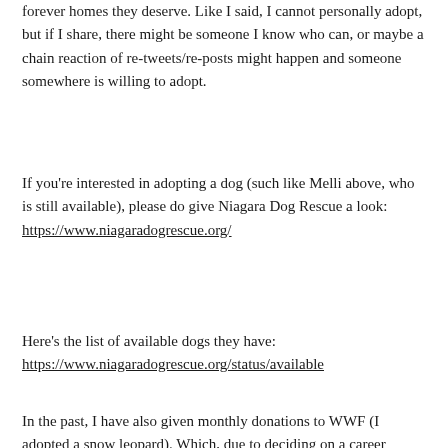forever homes they deserve. Like I said, I cannot personally adopt, but if I share, there might be someone I know who can, or maybe a chain reaction of re-tweets/re-posts might happen and someone somewhere is willing to adopt.
If you're interested in adopting a dog (such like Melli above, who is still available), please do give Niagara Dog Rescue a look:
https://www.niagaradogrescue.org/
Here's the list of available dogs they have:
https://www.niagaradogrescue.org/status/available
In the past, I have also given monthly donations to WWF (I adopted a snow leopard). Which, due to deciding on a career change and going back to university meant I had to cancel my monthly donations. But once I start back at work and get a wage coming in each month again, I will be looking at doing more for animals (and my other charitable